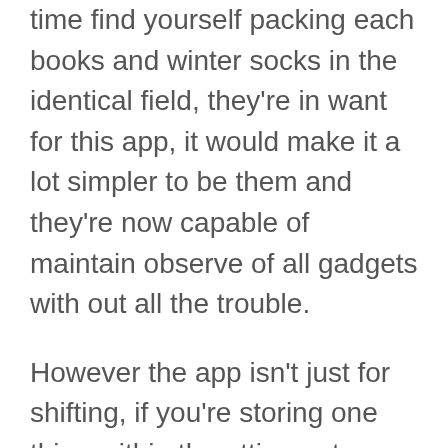time find yourself packing each books and winter socks in the identical field, they're in want for this app, it would make it a lot simpler to be them and they're now capable of maintain observe of all gadgets with out all the trouble.
However the app isn't just for shifting, if you're storing one thing within the attic or at a storage facility, then it's excellent, you pack the issues up, you scan it, make the label, and then you definitely simply must scan the label later to search out out what's the content material of the field you're looking at.
Think about discovering all of your Christmas